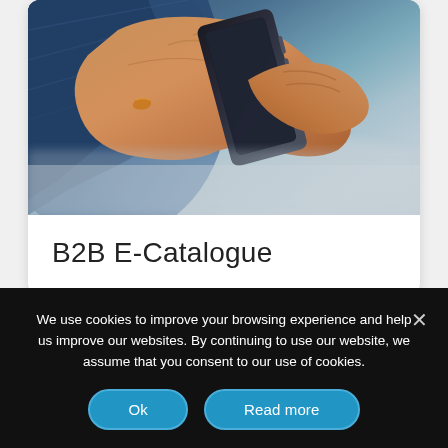[Figure (photo): Close-up photo of a person's hand holding a smartphone, wearing a blue denim jacket. The phone is dark-colored and held at an angle against a blurred background.]
B2B E-Catalogue
[Figure (other): Carousel navigation dots: 9 circles, second one highlighted in blue]
We use cookies to improve your browsing experience and help us improve our websites. By continuing to use our website, we assume that you consent to our use of cookies.
Ok
Read more